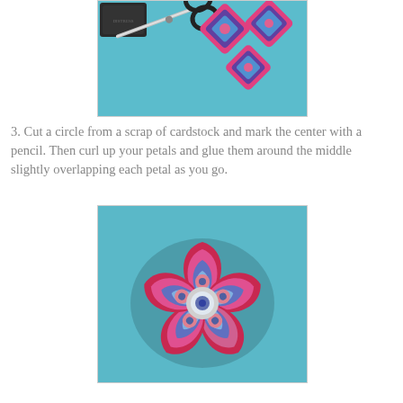[Figure (photo): Photo of scissors and decorative patterned paper cutouts (floral/diamond shapes with pink, blue, purple colors) on a teal blue fabric background, with a black ink stamp pad visible in the upper left corner.]
3. Cut a circle from a scrap of cardstock and mark the center with a pencil. Then curl up your petals and glue them around the middle slightly overlapping each petal as you go.
[Figure (photo): Photo showing five decorative paper petals (with elaborate pink, blue, purple, red mandala-like patterns) arranged in a flower shape on a teal blue fabric background, with their tips meeting in the center, slightly overlapping.]